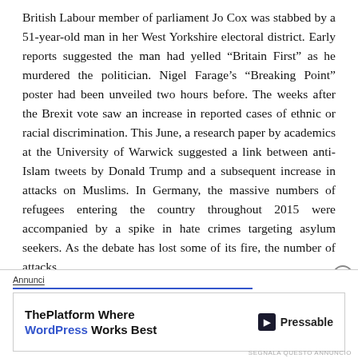British Labour member of parliament Jo Cox was stabbed by a 51-year-old man in her West Yorkshire electoral district. Early reports suggested the man had yelled “Britain First” as he murdered the politician. Nigel Farage’s “Breaking Point” poster had been unveiled two hours before. The weeks after the Brexit vote saw an increase in reported cases of ethnic or racial discrimination. This June, a research paper by academics at the University of Warwick suggested a link between anti-Islam tweets by Donald Trump and a subsequent increase in attacks on Muslims. In Germany, the massive numbers of refugees entering the country throughout 2015 were accompanied by a spike in hate crimes targeting asylum seekers. As the debate has lost some of its fire, the number of attacks
[Figure (other): Advertisement banner for ThePlatform Where WordPress Works Best by Pressable, with close button and Annunci label]